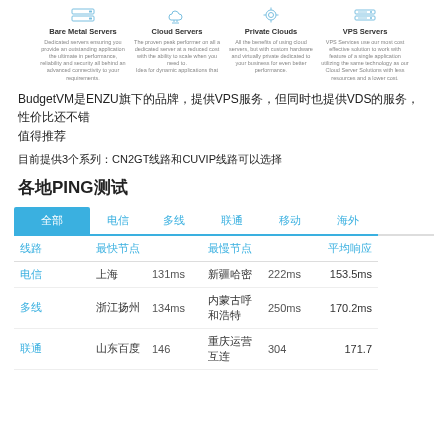[Figure (infographic): Four service icons: Bare Metal Servers, Cloud Servers, Private Clouds, VPS Servers with short descriptions]
BudgetVM是ENZU旗下的品牌，提供VPS服务，但同时也提供VDS的服务，性价比还不错 值得推荐
目前提供3个系列：CN2GT线路和CUVIP线路可以选择
各地PING测试
| 线路 | 最快节点 |  | 最慢节点 |  | 平均响应 |
| --- | --- | --- | --- | --- | --- |
| 电信 | 上海 | 131ms | 新疆哈密 | 222ms | 153.5ms |
| 多线 | 浙江扬州 | 134ms | 内蒙古呼和浩特 | 250ms | 170.2ms |
| 联通 | 山东百度 | 146 | 重庆运营互连 | 304 | 171.7 |